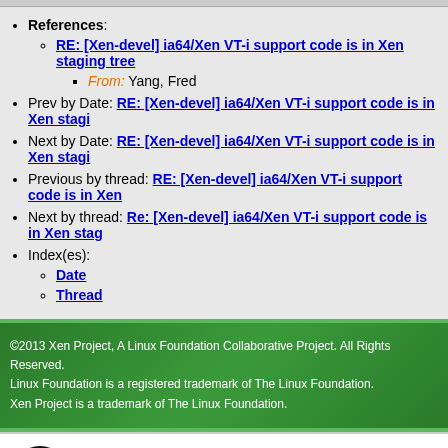References:
RE: [Xen-devel] ia64/Xen VT-i support code is in Xen staging tree (link)
From: Yang, Fred
Prev by Date: RE: [Xen-devel] ia64/Xen VT-i support code is in Xen stagi...
Next by Date: RE: [Xen-devel] ia64/Xen VT-i support code is in Xen stagi...
Previous by thread: RE: [Xen-devel] ia64/Xen VT-i support code is in Xen...
Next by thread: Re: [Xen-devel] ia64/Xen VT-i support code is in Xen stag...
Index(es):
Date
Thread
©2013 Xen Project, A Linux Foundation Collaborative Project. All Rights Reserved. Linux Foundation is a registered trademark of The Linux Foundation. Xen Project is a trademark of The Linux Foundation.
Lists.xenproject.org is hosted with RackSpace, monitoring our servers 24x7x365 and backed by RackSpace's Fanatical Support®.